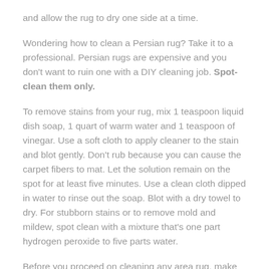and allow the rug to dry one side at a time.
Wondering how to clean a Persian rug? Take it to a professional. Persian rugs are expensive and you don't want to ruin one with a DIY cleaning job. Spot-clean them only.
To remove stains from your rug, mix 1 teaspoon liquid dish soap, 1 quart of warm water and 1 teaspoon of vinegar. Use a soft cloth to apply cleaner to the stain and blot gently. Don't rub because you can cause the carpet fibers to mat. Let the solution remain on the spot for at least five minutes. Use a clean cloth dipped in water to rinse out the soap. Blot with a dry towel to dry. For stubborn stains or to remove mold and mildew, spot clean with a mixture that's one part hydrogen peroxide to five parts water.
Before you proceed on cleaning any area rug, make sure you check the manufacturers maintenance recommendations. All manufacturers will have different ways to maintain area rugs.